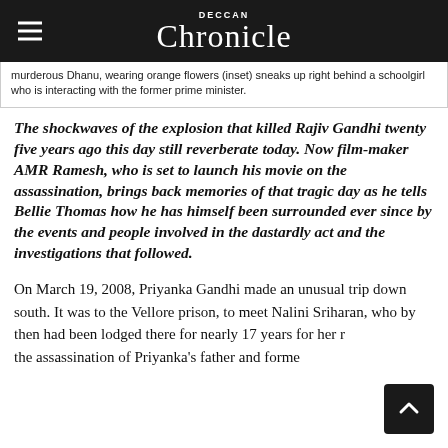DECCAN Chronicle
murderous Dhanu, wearing orange flowers (inset) sneaks up right behind a schoolgirl who is interacting with the former prime minister.
The shockwaves of the explosion that killed Rajiv Gandhi twenty five years ago this day still reverberate today. Now film-maker AMR Ramesh, who is set to launch his movie on the assassination, brings back memories of that tragic day as he tells Bellie Thomas how he has himself been surrounded ever since by the events and people involved in the dastardly act and the investigations that followed.
On March 19, 2008, Priyanka Gandhi made an unusual trip down south. It was to the Vellore prison, to meet Nalini Sriharan, who by then had been lodged there for nearly 17 years for her role in the assassination of Priyanka's father and former prime minister Rajiv Gandhi in 1991. Priyanka had told